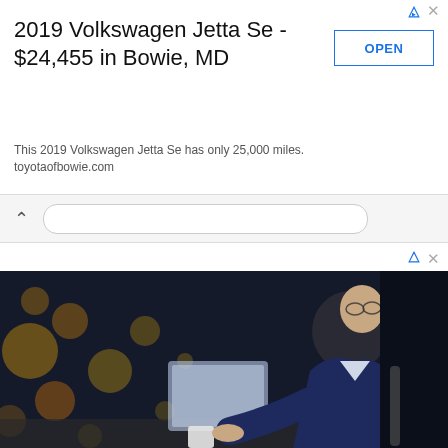2019 Volkswagen Jetta Se - $24,455 in Bowie, MD
This 2019 Volkswagen Jetta Se has only 25,000 miles. toyotaofbowie.com
[Figure (photo): Man in a blue suit working on a laptop at a desk, bokeh golden lights in background, coffee cup on desk]
Anticipate. Research. Respond.
Unmatched corporate compliance content and easy-to-use tools, all in one platform.